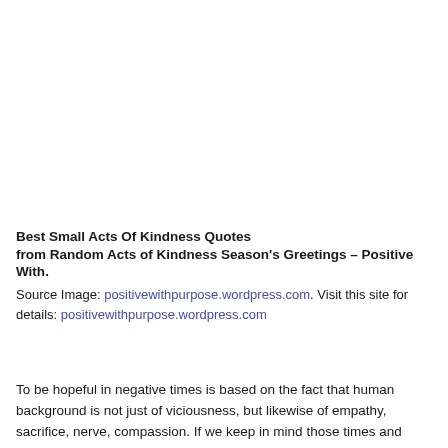Best Small Acts Of Kindness Quotes from Random Acts of Kindness Season's Greetings – Positive With.
Source Image: positivewithpurpose.wordpress.com. Visit this site for details: positivewithpurpose.wordpress.com
To be hopeful in negative times is based on the fact that human background is not just of viciousness, but likewise of empathy, sacrifice, nerve, compassion. If we keep in mind those times and places where